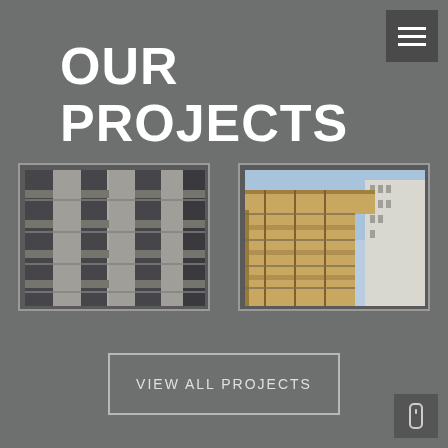OUR PROJECTS
[Figure (photo): Construction site photo showing multi-story building under construction with scaffolding and structural steel framework]
[Figure (photo): Construction photo showing a crane or structural element against a blue sky with a multi-story building in the background]
VIEW ALL PROJECTS